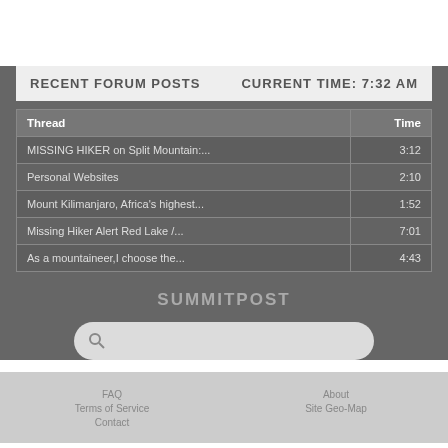RECENT FORUM POSTS    CURRENT TIME: 7:32 AM
| Thread | Time |
| --- | --- |
| MISSING HIKER on Split Mountain:... | 3:12 |
| Personal Websites | 2:10 |
| Mount Kilimanjaro, Africa's highest... | 1:52 |
| Missing Hiker Alert Red Lake /... | 7:01 |
| As a mountaineer,I choose the... | 4:43 |
SUMMITPOST
[Figure (screenshot): Search bar with magnifying glass icon]
FAQ    About    Terms of Service    Site Geo-Map    Contact